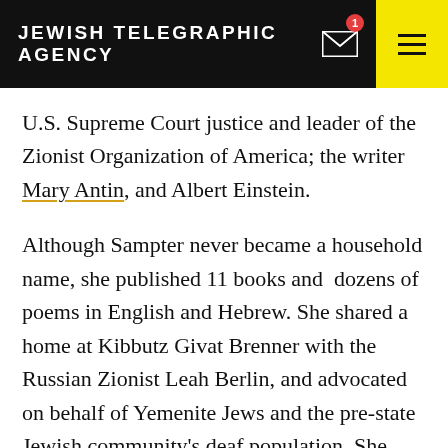JEWISH TELEGRAPHIC AGENCY
U.S. Supreme Court justice and leader of the Zionist Organization of America; the writer Mary Antin, and Albert Einstein.
Although Sampter never became a household name, she published 11 books and  dozens of poems in English and Hebrew. She shared a home at Kibbutz Givat Brenner with the Russian Zionist Leah Berlin, and advocated on behalf of Yemenite Jews and the pre-state Jewish community's deaf population. She never married nor bore children, although she did adopt a Yemenite Jewish daughter. Her story is worth remembering, writes Imhoff, because Sampter's life